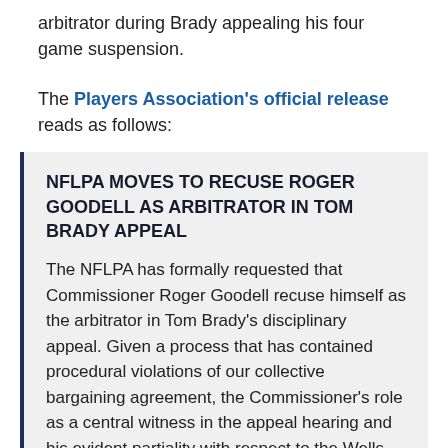arbitrator during Brady appealing his four game suspension.
The Players Association's official release reads as follows:
NFLPA MOVES TO RECUSE ROGER GOODELL AS ARBITRATOR IN TOM BRADY APPEAL
The NFLPA has formally requested that Commissioner Roger Goodell recuse himself as the arbitrator in Tom Brady's disciplinary appeal. Given a process that has contained procedural violations of our collective bargaining agreement, the Commissioner's role as a central witness in the appeal hearing and his evident partiality with respect to the Wells report, the Commissioner must designate a neutral party to serve as an arbitrator in